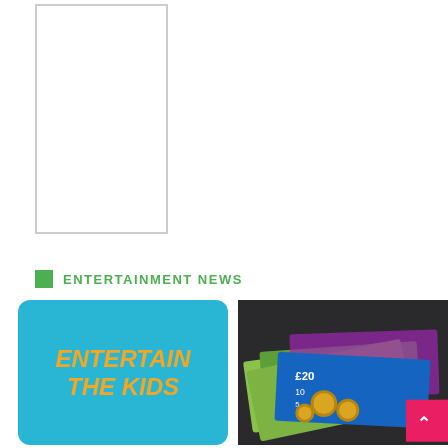[Figure (other): White rectangular advertisement placeholder box with grey border]
ENTERTAINMENT NEWS
[Figure (illustration): Blue cloud-shaped graphic with orange italic bold text reading ENTERTAIN THE KIDS]
[Figure (photo): Photo of British pound notes (£20, £10, £5) and coins on a dark background, with a pink square and up-arrow button in the bottom right corner]